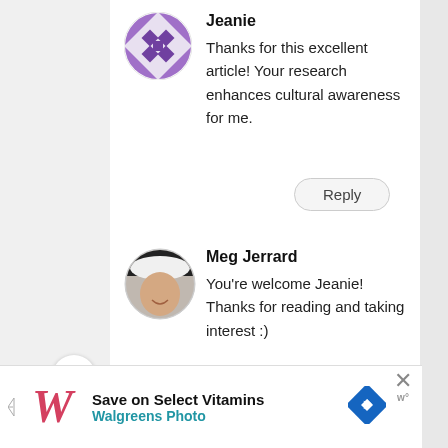[Figure (illustration): Purple geometric diamond/quilt pattern avatar for user Jeanie]
Jeanie
Thanks for this excellent article! Your research enhances cultural awareness for me.
Reply
[Figure (photo): Round photo avatar of Meg Jerrard, a woman with dark hair wearing a black and white hat, smiling]
Meg Jerrard
You're welcome Jeanie! Thanks for reading and taking interest :)
[Figure (logo): Walgreens W logo in cursive red/pink style with blue advertisement triangle arrow icon. Ad reads: Save on Select Vitamins, Walgreens Photo]
Save on Select Vitamins
Walgreens Photo